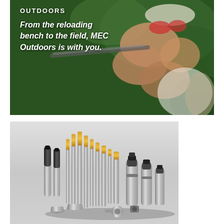[Figure (photo): MEC Outdoors advertisement photo showing a man wearing a cap and red shooting glasses aiming a shotgun, with green outdoor background. White text overlay reads 'OUTDOORS' and italic tagline 'From the reloading bench to the field, MEC Outdoors is with you.']
[Figure (photo): Product photo of MEC Outdoors reloading equipment — an array of shotshell reloading dies, wads, and components arranged on a light gray background.]